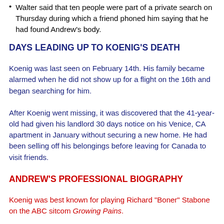Walter said that ten people were part of a private search on Thursday during which a friend phoned him saying that he had found Andrew's body.
DAYS LEADING UP TO KOENIG'S DEATH
Koenig was last seen on February 14th. His family became alarmed when he did not show up for a flight on the 16th and began searching for him.
After Koenig went missing, it was discovered that the 41-year-old had given his landlord 30 days notice on his Venice, CA apartment in January without securing a new home. He had been selling off his belongings before leaving for Canada to visit friends.
ANDREW'S PROFESSIONAL BIOGRAPHY
Koenig was best known for playing Richard "Boner" Stabone on the ABC sitcom Growing Pains.
Wikipedia reported that he appeared as The Joker in the fan film Batman: Dead End, starred as the M.C. in